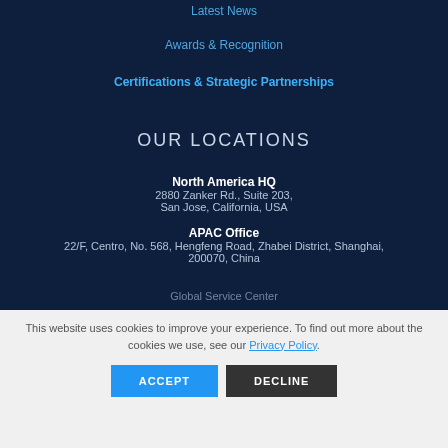Latest News
Awards & Recognition
Certifications & Strategic Partnerships
OUR LOCATIONS
North America HQ
2880 Zanker Rd., Suite 203,
San Jose, California, USA
APAC Office
22/F, Centro, No. 568, Hengfeng Road, Zhabei District, Shanghai,
200070, China
Global Service Center
This website uses cookies to improve your experience. To find out more about the cookies we use, see our Privacy Policy.
ACCEPT
DECLINE